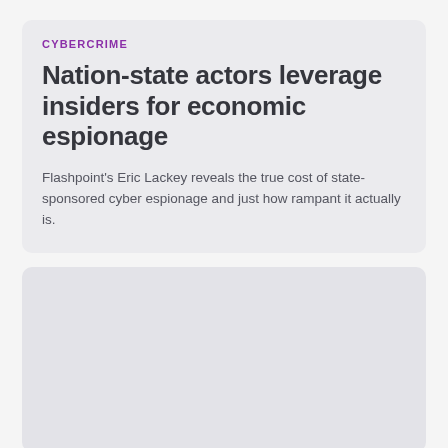CYBERCRIME
Nation-state actors leverage insiders for economic espionage
Flashpoint's Eric Lackey reveals the true cost of state-sponsored cyber espionage and just how rampant it actually is.
[Figure (other): Empty gray card placeholder for a second article]